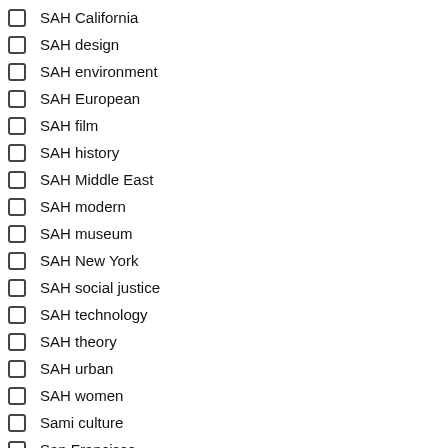SAH California
SAH design
SAH environment
SAH European
SAH film
SAH history
SAH Middle East
SAH modern
SAH museum
SAH New York
SAH social justice
SAH technology
SAH theory
SAH urban
SAH women
Sami culture
San Francisco
Scandinavian Studies
Scholarly books
Science and Technology
Science Fiction